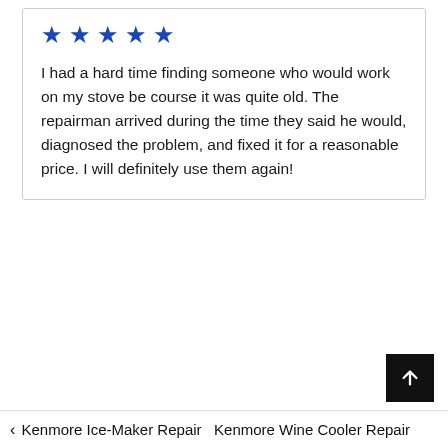[Figure (other): Five blue star rating icons]
I had a hard time finding someone who would work on my stove be course it was quite old. The repairman arrived during the time they said he would, diagnosed the problem, and fixed it for a reasonable price. I will definitely use them again!
< Kenmore Ice-Maker Repair Kenmore Wine Cooler Repair